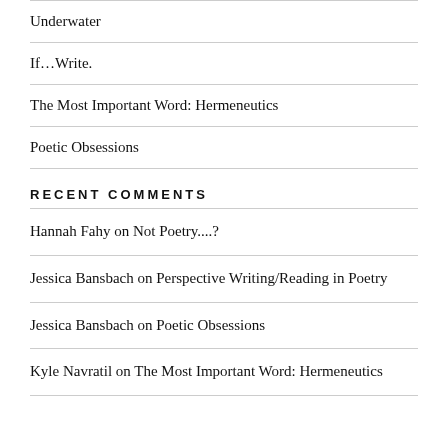Underwater
If…Write.
The Most Important Word: Hermeneutics
Poetic Obsessions
RECENT COMMENTS
Hannah Fahy on Not Poetry....?
Jessica Bansbach on Perspective Writing/Reading in Poetry
Jessica Bansbach on Poetic Obsessions
Kyle Navratil on The Most Important Word: Hermeneutics